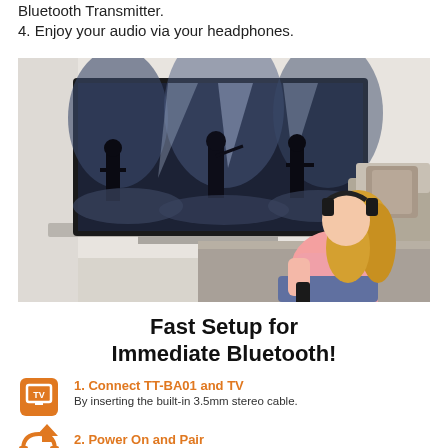Bluetooth Transmitter.
4. Enjoy your audio via your headphones.
[Figure (photo): Woman with headphones sitting on couch using TV remote, large television on wall showing musicians performing]
Fast Setup for Immediate Bluetooth!
[Figure (infographic): TV icon in orange square]
1. Connect TT-BA01 and TV By inserting the built-in 3.5mm stereo cable.
[Figure (infographic): Orange up arrow icon]
[Figure (infographic): Partial headphones icon]
2. Power On and Pair